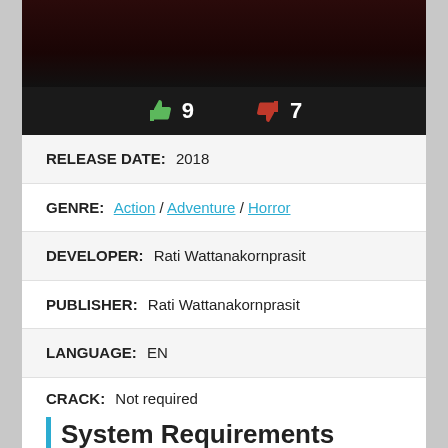[Figure (photo): Dark game screenshot at top with like/dislike bar showing thumbs up 9 and thumbs down 7]
RELEASE DATE: 2018
GENRE: Action / Adventure / Horror
DEVELOPER: Rati Wattanakornprasit
PUBLISHER: Rati Wattanakornprasit
LANGUAGE: EN
CRACK: Not required
System Requirements
CPU: Intel Core i5
RAM: 4 GB
OS: Windows 7 / 10 (64-bit)
Video Card: NVIDIA GeForce GTX 560 or